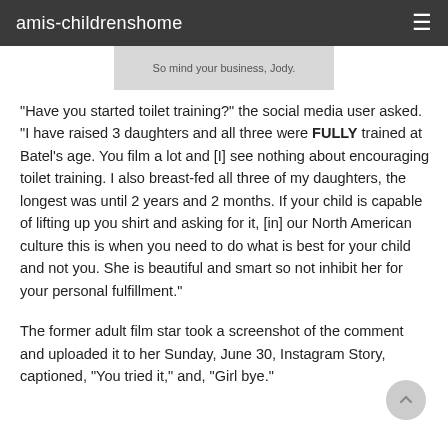amis-childrenshome
[Figure (screenshot): Screenshot image showing text 'So mind your business, Jody.']
“Have you started toilet training?” the social media user asked. “I have raised 3 daughters and all three were FULLY trained at Batel’s age. You film a lot and [I] see nothing about encouraging toilet training. I also breast-fed all three of my daughters, the longest was until 2 years and 2 months. If your child is capable of lifting up you shirt and asking for it, [in] our North American culture this is when you need to do what is best for your child and not you. She is beautiful and smart so not inhibit her for your personal fulfillment.”
The former adult film star took a screenshot of the comment and uploaded it to her Sunday, June 30, Instagram Story, captioned, “You tried it,” and, “Girl bye.”